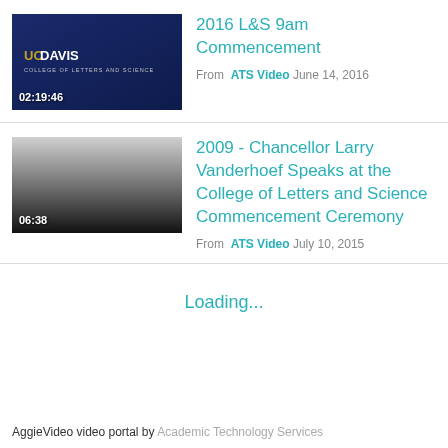[Figure (screenshot): Video thumbnail for 2016 L&S 9am Commencement showing UC Davis College of Letters and Science branding on dark blue background with timecode 02:19:46]
2016 L&S 9am Commencement
From ATS Video June 14, 2016
[Figure (screenshot): Video thumbnail showing gradient from light gray to dark gray/black with timecode 06:38]
2009 - Chancellor Larry Vanderhoef Speaks at the College of Letters and Science Commencement Ceremony
From ATS Video July 10, 2015
Loading...
AggieVideo video portal by Academic Technology Services